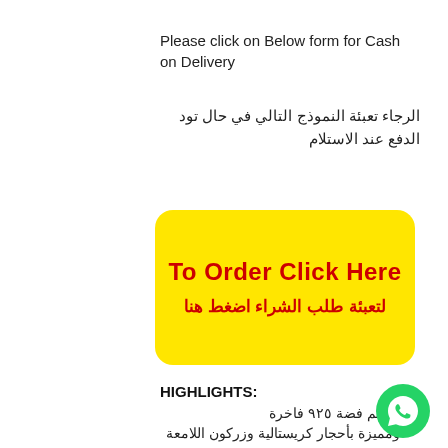Please click on Below form for Cash on Delivery
الرجاء تعبئة النموذج التالي في حال تود الدفع عند الاستلام
[Figure (other): Yellow rounded rectangle button with red bold text 'To Order Click Here' in English and 'لتعبئة طلب الشراء اضغط هنا' in Arabic]
HIGHLIGHTS:
خواتم فضة ٩٢٥ فاخرة
ومميزة بأحجار كريستالية وزركون اللامعة
[Figure (logo): WhatsApp green circle icon with phone handset in white]